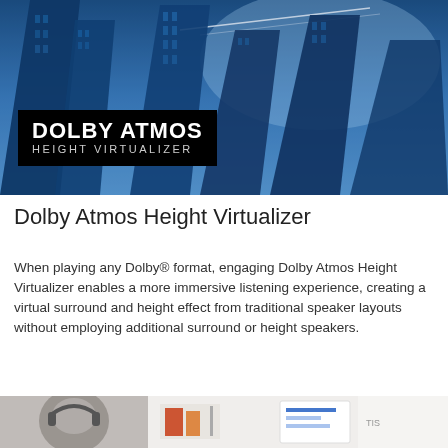[Figure (photo): Blue-tinted upward-looking photo of tall glass skyscrapers with a plane contrail in the sky, used as a hero banner image for Dolby Atmos Height Virtualizer]
Dolby Atmos Height Virtualizer
When playing any Dolby® format, engaging Dolby Atmos Height Virtualizer enables a more immersive listening experience, creating a virtual surround and height effect from traditional speaker layouts without employing additional surround or height speakers.
[Figure (photo): Bottom strip showing two partial photos: left shows a person wearing headphones, right shows a bright white room with colorful items on a shelf and a small device]